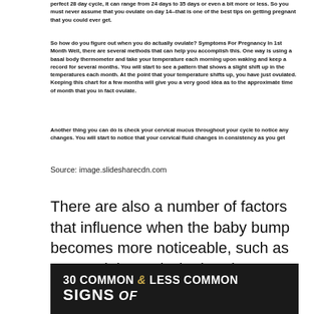perfect 28 day cycle, it can range from 24 days to 35 days or even a bit more or less. So you must never assume that you ovulate on day 14--that is one of the best tips on getting pregnant that you could ever get.
So how do you figure out when you do actually ovulate? Symptoms For Pregnancy In 1st Month Well, there are several methods that can help you accomplish this. One way is using a basal body thermometer and take your temperature each morning upon waking and keep a record for several months. You will start to see a pattern that shows a slight shift up in the temperatures each month. At the point that your temperature shifts up, you have just ovulated. Keeping this chart for a few months will give you a very good idea as to the approximate time of month that you in fact ovulate.
Another thing you can do is check your cervical mucus throughout your cycle to notice any changes. You will start to notice that your cervical fluid changes in consistency as you get
Source: image.slidesharecdn.com
There are also a number of factors that influence when the baby bump becomes more noticeable, such as age, weight, and whether the.
[Figure (infographic): Dark background infographic panel showing '30 COMMON & LESS COMMON SIGNS of...' text in white and gold lettering]